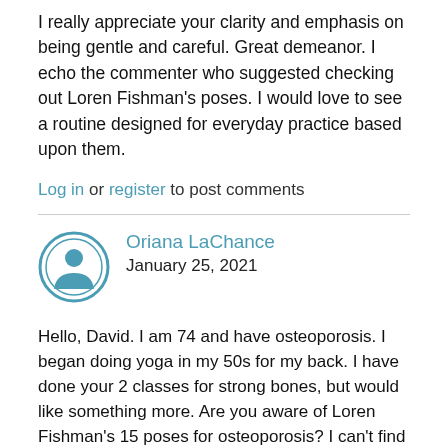I really appreciate your clarity and emphasis on being gentle and careful. Great demeanor. I echo the commenter who suggested checking out Loren Fishman's poses. I would love to see a routine designed for everyday practice based upon them.
Log in or register to post comments
Oriana LaChance
January 25, 2021
Hello, David. I am 74 and have osteoporosis. I began doing yoga in my 50s for my back. I have done your 2 classes for strong bones, but would like something more. Are you aware of Loren Fishman's 15 poses for osteoporosis? I can't find them in a well-put-together flow. Perhaps you could do another class for strong bones that speaks to